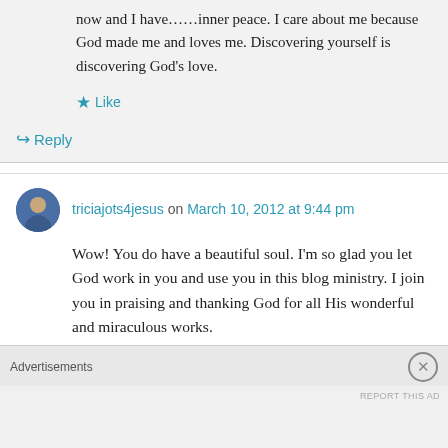now and I have……inner peace. I care about me because God made me and loves me. Discovering yourself is discovering God's love.
Like
Reply
triciajots4jesus on March 10, 2012 at 9:44 pm
Wow! You do have a beautiful soul. I'm so glad you let God work in you and use you in this blog ministry. I join you in praising and thanking God for all His wonderful and miraculous works.
Advertisements